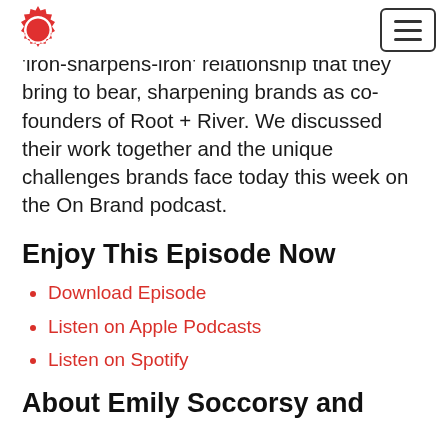[Logo gear icon] [Hamburger menu button]
'iron-sharpens-iron' relationship that they bring to bear, sharpening brands as co-founders of Root + River. We discussed their work together and the unique challenges brands face today this week on the On Brand podcast.
Enjoy This Episode Now
Download Episode
Listen on Apple Podcasts
Listen on Spotify
About Emily Soccorsy and